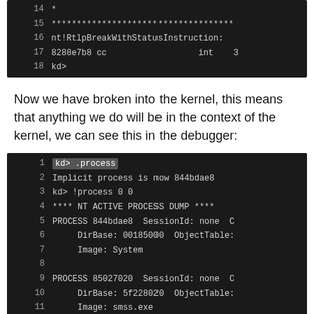[Figure (screenshot): Terminal/debugger code block showing lines 14-18 with kernel debugger output including nt!RtlpBreakWithStatusInstruction and int 3]
Now we have broken into the kernel, this means that anything we do will be in the context of the kernel, we can see this in the debugger:
[Figure (screenshot): Terminal/debugger code block showing lines 1-11+ with .process command output, implicit process 844bdae8, NT ACTIVE PROCESS DUMP, PROCESS entries for System and smss.exe]